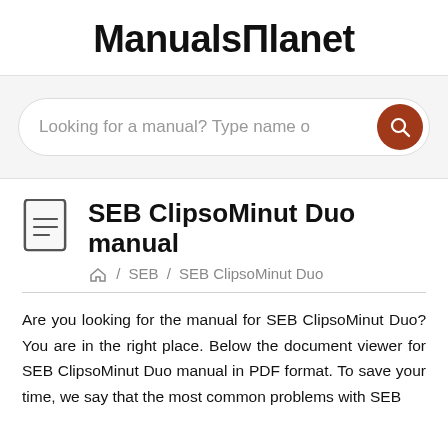ManualsПlanet
[Figure (screenshot): Search bar with placeholder text 'Looking for a manual? Type name o' and a dark red circular search button with magnifying glass icon]
SEB ClipsoMinut Duo manual
/ SEB / SEB ClipsoMinut Duo
Are you looking for the manual for SEB ClipsoMinut Duo? You are in the right place. Below the document viewer for SEB ClipsoMinut Duo manual in PDF format. To save your time, we say that the most common problems with SEB